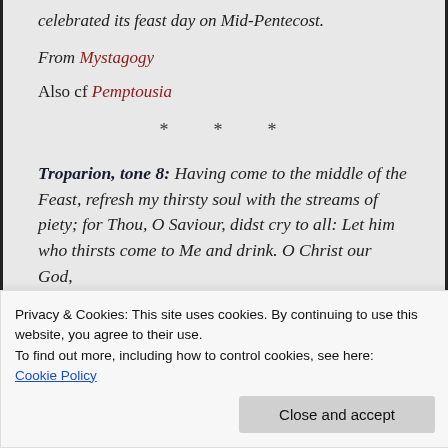celebrated its feast day on Mid-Pentecost.
From Mystagogy
Also cf Pemptousia
* * *
Troparion, tone 8: Having come to the middle of the Feast, refresh my thirsty soul with the streams of piety; for Thou, O Saviour, didst cry to all: Let him who thirsts come to Me and drink. O Christ our God, Source of Life, glory to Thee
Privacy & Cookies: This site uses cookies. By continuing to use this website, you agree to their use. To find out more, including how to control cookies, see here: Cookie Policy
Close and accept